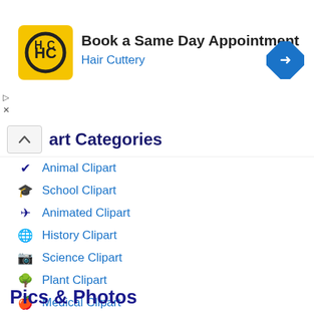[Figure (screenshot): Advertisement banner for Hair Cuttery with logo, text 'Book a Same Day Appointment', 'Hair Cuttery', and a blue navigation arrow icon]
art Categories
Animal Clipart
School Clipart
Animated Clipart
History Clipart
Science Clipart
Plant Clipart
Medical Clipart
People Clipart
Black White Clipart
Sports Clipart
Pics & Photos